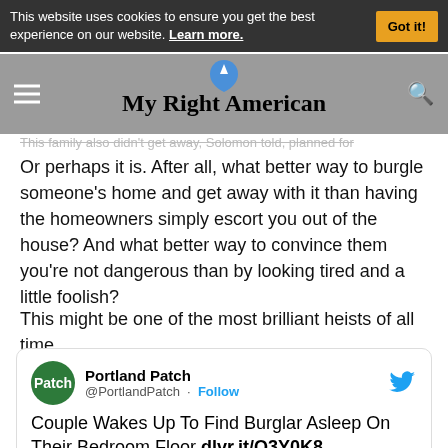This website uses cookies to ensure you get the best experience on our website. Learn more. Got it!
[Figure (logo): My Right American website logo with blue bird icon and site name]
This family also didn't get away, Solomon told, planned for
Or perhaps it is. After all, what better way to burgle someone's home and get away with it than having the homeowners simply escort you out of the house? And what better way to convince them you're not dangerous than by looking tired and a little foolish?
This might be one of the most brilliant heists of all time.
[Figure (screenshot): Tweet from Portland Patch (@PortlandPatch) with text: Couple Wakes Up To Find Burglar Asleep On Their Bedroom Floor dlvr.it/Q3Y0K8]